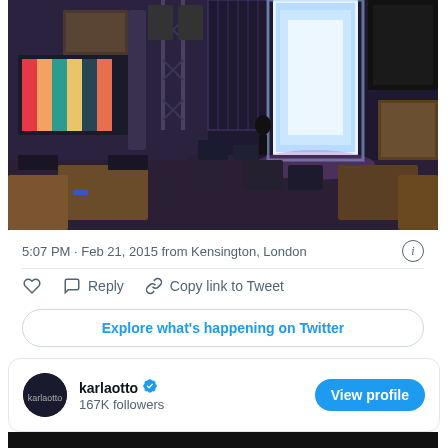[Figure (photo): Indoor event venue being set up with staging equipment, large bright LED display screen, speakers on truss structures, colorful TV monitor on left wall, scattered cardboard boxes and seating in foreground, person standing near the bright screen]
5:07 PM · Feb 21, 2015 from Kensington, London
Reply   Copy link to Tweet
Explore what's happening on Twitter
karlaotto
167K followers
View profile
[Figure (screenshot): Dark/black preview area at bottom of screen]